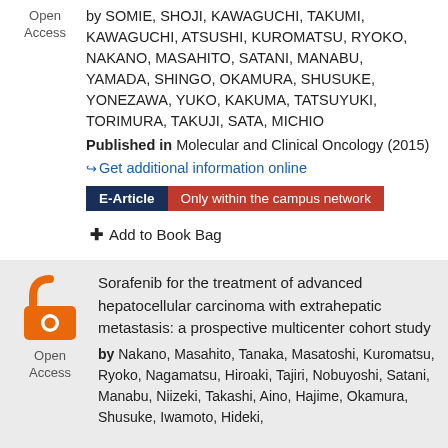Open Access — by SOMIE, SHOJI, KAWAGUCHI, TAKUMI, KAWAGUCHI, ATSUSHI, KUROMATSU, RYOKO, NAKANO, MASAHITO, SATANI, MANABU, YAMADA, SHINGO, OKAMURA, SHUSUKE, YONEZAWA, YUKO, KAKUMA, TATSUYUKI, TORIMURA, TAKUJI, SATA, MICHIO
Published in Molecular and Clinical Oncology (2015)
Get additional information online
E-Article | Only within the campus network
+ Add to Book Bag
★ Favorite
Open Access — Sorafenib for the treatment of advanced hepatocellular carcinoma with extrahepatic metastasis: a prospective multicenter cohort study by Nakano, Masahito, Tanaka, Masatoshi, Kuromatsu, Ryoko, Nagamatsu, Hiroaki, Tajiri, Nobuyoshi, Satani, Manabu, Niizeki, Takashi, Aino, Hajime, Okamura, Shusuke, Iwamoto, Hideki,